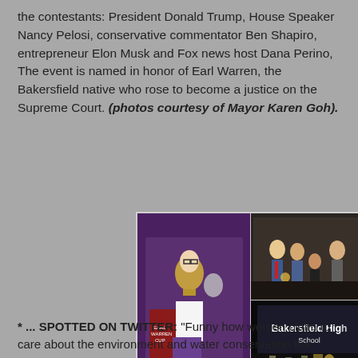the contestants: President Donald Trump, House Speaker Nancy Pelosi, conservative commentator Ben Shapiro, entrepreneur Elon Musk and Fox news host Dana Perino, The event is named in honor of Earl Warren, the Bakersfield native who rose to become a justice on the Supreme Court. (photos courtesy of Mayor Karen Goh).
[Figure (photo): A collage of three photos: left photo shows a young man in a white shirt and purple pants holding large trophies including the Earl Warren Cup on a stage with purple lighting; top right shows a group of young men in suits posing together; bottom right shows a stage/screen reading 'Bakersfield High School' with people on stage.]
* ... SPOTTED ON TWITTER: "Funny how women claim to care about the environment and water conservation but